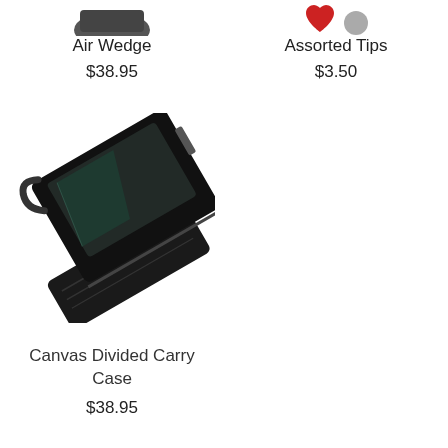[Figure (photo): Partial image of Air Wedge product at top left, cropped]
Air Wedge
$38.95
[Figure (photo): Partial image of Assorted Tips product at top right, showing red heart and gray circle icons, cropped]
Assorted Tips
$3.50
[Figure (photo): Black canvas divided carry case lying open showing multiple compartments]
Canvas Divided Carry Case
$38.95